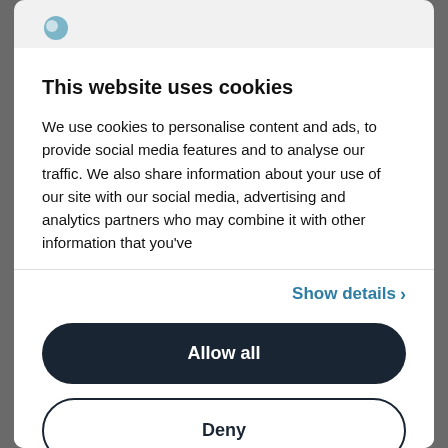This website uses cookies
We use cookies to personalise content and ads, to provide social media features and to analyse our traffic. We also share information about your use of our site with our social media, advertising and analytics partners who may combine it with other information that you've
Show details ›
Allow all
Deny
Powered by Cookiebot by Usercentrics